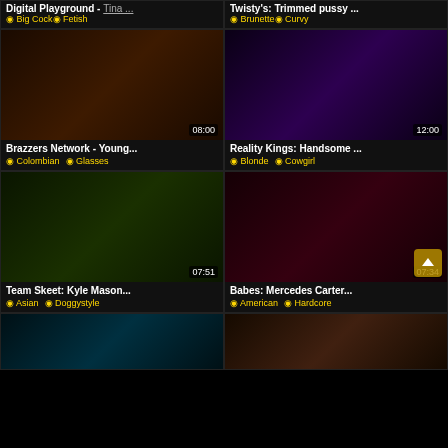[Figure (screenshot): Adult video thumbnail grid page showing 6 video cards plus partial top and bottom rows]
Digital Playground - Tina ...
◉ Big Cock ◉ Fetish
Twisty's: Trimmed pussy ...
◉ Brunette ◉ Curvy
[Figure (photo): Adult video thumbnail 08:00 - Brazzers Network]
Brazzers Network - Young...
◉ Colombian ◉ Glasses
[Figure (photo): Adult video thumbnail 12:00 - Reality Kings]
Reality Kings: Handsome ...
◉ Blonde ◉ Cowgirl
[Figure (photo): Adult video thumbnail 07:51 - Team Skeet]
Team Skeet: Kyle Mason...
◉ Asian ◉ Doggystyle
[Figure (photo): Adult video thumbnail 07:34 - Babes with scroll-up button]
Babes: Mercedes Carter...
◉ American ◉ Hardcore